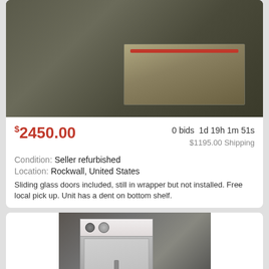[Figure (photo): Photo of a 2021 Hardt Zone 8 heated holding food warmer merchandiser, large industrial equipment on a pallet, dark background, with white text overlay]
2021 Hardt Zone 8 heated holding food warmer merchandiser chicken Rotisserie
$2450.00  0 bids  1d 19h 1m 51s  $1195.00 Shipping
Condition: Seller refurbished
Location: Rockwall, United States
Sliding glass doors included, still in wrapper but not installed. Free local pick up. Unit has a dent on bottom shelf.
[Figure (photo): Photo of a stainless steel commercial food warmer/holding cabinet with controls on top panel, viewed from front, in a warehouse or storage setting]